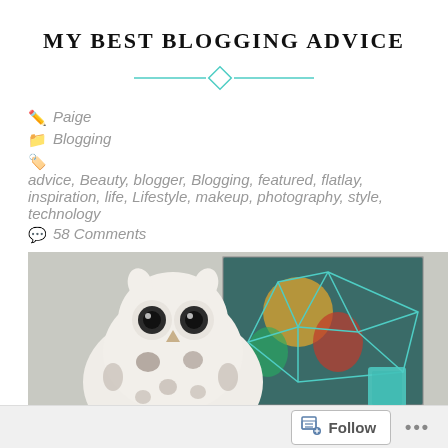MY BEST BLOGGING ADVICE
Paige
Blogging
advice, Beauty, blogger, Blogging, featured, flatlay, inspiration, life, Lifestyle, makeup, photography, style, technology
58 Comments
[Figure (photo): Photo of a white ceramic owl figurine with dark spots on a white shelf, with a teal geometric wire frame sculpture behind it, a colorful painting in the background, and a teal candle holder and Amazon Echo to the right.]
Follow